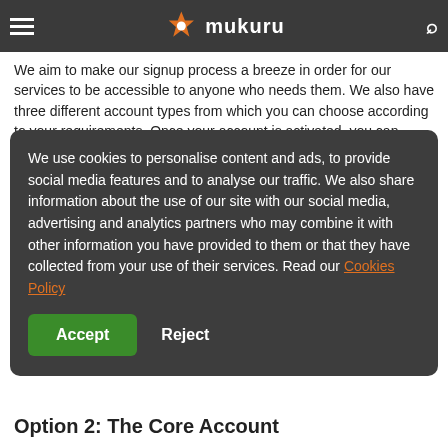mukuru (logo with navigation)
We aim to make our signup process a breeze in order for our services to be accessible to anyone who needs them. We also have three different account types from which you can choose according to your requirements. Once your account is activated, you can transfer money for collection to any one of the African countries we service.
Option 1: The Lite Account
Our Lite account type allows customers to transfer up to £000 per month. This kind of account is the simplest to set up as it does not require that our customers provide any additional documentation. The Lite account requires basic information, such as your identity number, name and date of birth. Signing up is so easy, in fact, you won't need more than a few minutes.
[Figure (screenshot): Cookie consent modal overlay with dark background. Text: 'We use cookies to personalise content and ads, to provide social media features and to analyse our traffic. We also share information about the use of our site with our social media, advertising and analytics partners who may combine it with other information you have provided to them or that they have collected from your use of their services. Read our Cookies Policy' with Accept and Reject buttons.]
Option 2: The Core Account